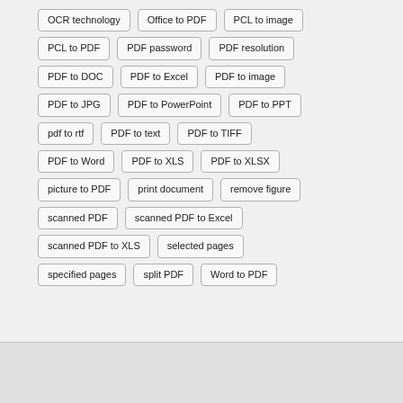OCR technology
Office to PDF
PCL to image
PCL to PDF
PDF password
PDF resolution
PDF to DOC
PDF to Excel
PDF to image
PDF to JPG
PDF to PowerPoint
PDF to PPT
pdf to rtf
PDF to text
PDF to TIFF
PDF to Word
PDF to XLS
PDF to XLSX
picture to PDF
print document
remove figure
scanned PDF
scanned PDF to Excel
scanned PDF to XLS
selected pages
specified pages
split PDF
Word to PDF